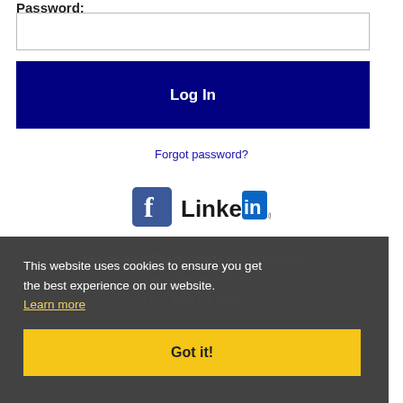Password:
[Figure (screenshot): Password input text field (empty)]
[Figure (screenshot): Log In button - dark navy blue background with white bold text]
Forgot password?
[Figure (logo): Facebook logo icon and LinkedIn logo icon side by side]
Get the latest Massachusetts jobs by following @recnetMA on Twitter!
Lynn RSS job feeds
This website uses cookies to ensure you get the best experience on our website.
Learn more
[Figure (screenshot): Got it! button - yellow background with bold text]